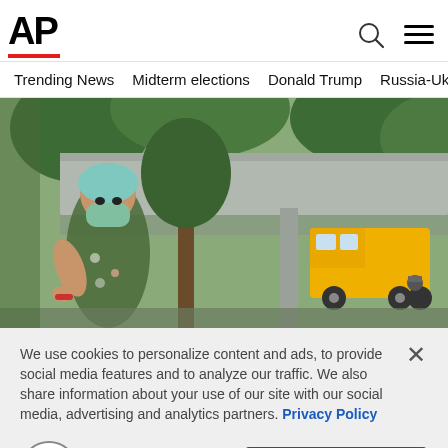AP
Trending News   Midterm elections   Donald Trump   Russia-Ukr
[Figure (photo): Woman wearing a green hat and face mask standing near a yellow dump truck under an overpass with trees in the background]
We use cookies to personalize content and ads, to provide social media features and to analyze our traffic. We also share information about your use of our site with our social media, advertising and analytics partners. Privacy Policy
Cookies Settings   Accept All Cookies